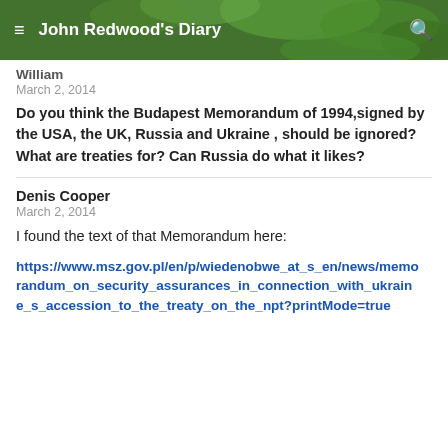John Redwood's Diary
William
March 2, 2014
Do you think the Budapest Memorandum of 1994,signed by the USA, the UK, Russia and Ukraine , should be ignored? What are treaties for? Can Russia do what it likes?
Denis Cooper
March 2, 2014
I found the text of that Memorandum here:
https://www.msz.gov.pl/en/p/wiedenobwe_at_s_en/news/memorandum_on_security_assurances_in_connection_with_ukraine_s_accession_to_the_treaty_on_the_npt?printMode=true